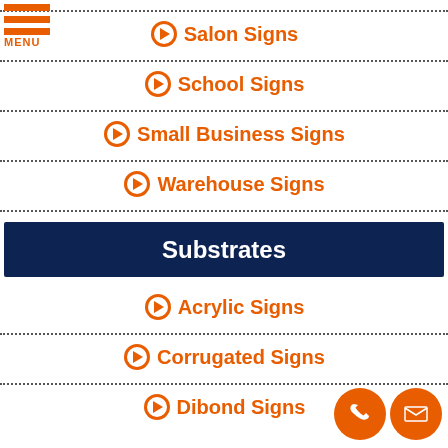Salon Signs
School Signs
Small Business Signs
Warehouse Signs
Substrates
Acrylic Signs
Corrugated Signs
Dibond Signs